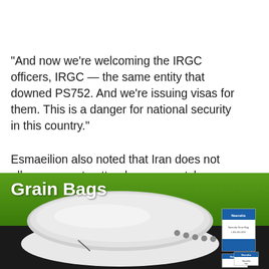"And now we're welcoming the IRGC officers, IRGC — the same entity that downed PS752. And we're issuing visas for them. This is a danger for national security in this country."
Esmaeilion also noted that Iran does not allow women to attend soccer matches. "This is against Canadian values," he said.
The federal government has said Canada's priority "is
[Figure (photo): Advertisement banner for Grain Bags product showing a large white grain bag and product boxes with Neeralta branding, on a green and dark background.]